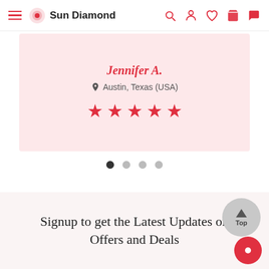Sun Diamond
Jennifer A.
Austin, Texas (USA)
★★★★★
[Figure (other): Carousel pagination dots: first dot dark/active, three dots light gray]
Signup to get the Latest Updates on Offers and Deals